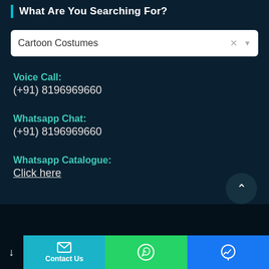What Are You Searching For?
[Figure (screenshot): Search dropdown box with text 'Cartoon Costumes' and clear/dropdown icons]
Voice Call:
(+91) 8196969660
Whatsapp Chat:
(+91) 8196969660
Whatsapp Catalogue:
Click here
Contact Us | WhatsApp | Messenger